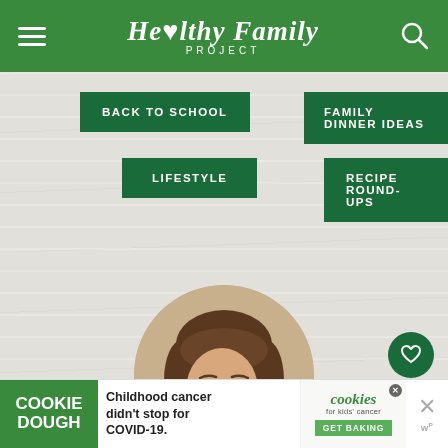Healthy Family Project
BACK TO SCHOOL
FAMILY DINNER IDEAS
LIFESTYLE
RECIPE ROUND-UPS
[Figure (photo): Circular headshot photo of a smiling woman with brown hair, wearing a white top and pearl necklace]
8
WHAT'S NEXT → Back To School Tips ...
COOKIE DOUGH  Childhood cancer didn't stop for COVID-19.  cookies for kids' cancer  GET BAKING